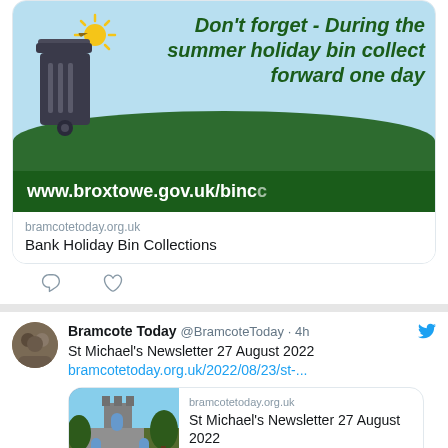[Figure (screenshot): Twitter/social media screenshot showing a tweet with a Broxtowe Council bin collection reminder banner image. The banner shows a wheelie bin, sun, green hill, and text: 'Don't forget - During the summer holiday bin collect forward one day' and 'www.broxtowe.gov.uk/binc'. Below the image: domain 'bramcotetoday.org.uk' and title 'Bank Holiday Bin Collections'.]
[Figure (screenshot): Second tweet from Bramcote Today @BramcoteToday 4h: 'St Michael's Newsletter 27 August 2022' with link bramcotetoday.org.uk/2022/08/23/st-... and a link card showing a church building photo, domain bramcotetoday.org.uk, title 'St Michael's Newsletter 27 August 2022'.]